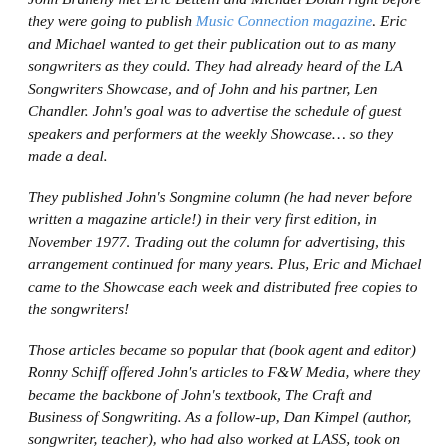John Braheny met Eric Bettelli and Michael Dolan right before they were going to publish Music Connection magazine. Eric and Michael wanted to get their publication out to as many songwriters as they could. They had already heard of the LA Songwriters Showcase, and of John and his partner, Len Chandler. John's goal was to advertise the schedule of guest speakers and performers at the weekly Showcase… so they made a deal.
They published John's Songmine column (he had never before written a magazine article!) in their very first edition, in November 1977. Trading out the column for advertising, this arrangement continued for many years. Plus, Eric and Michael came to the Showcase each week and distributed free copies to the songwriters!
Those articles became so popular that (book agent and editor) Ronny Schiff offered John's articles to F&W Media, where they became the backbone of John's textbook, The Craft and Business of Songwriting. As a follow-up, Dan Kimpel (author, songwriter, teacher), who had also worked at LASS, took on